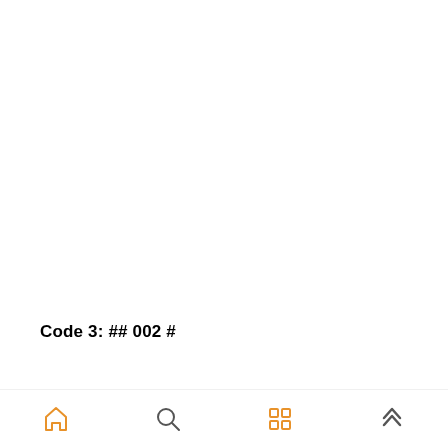Code 3: ## 002 #
If, using the previous codes, you discover that your
navigation icons: home, search, apps, up